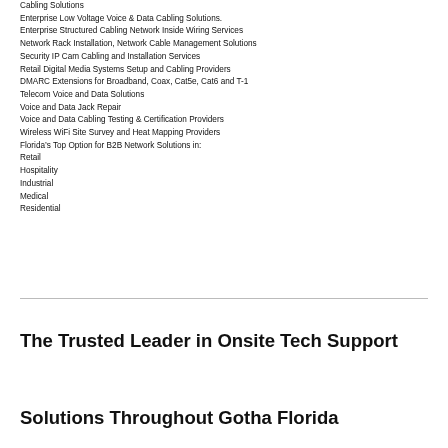Cabling Solutions
Enterprise Low Voltage Voice & Data Cabling Solutions.
Enterprise Structured Cabling Network Inside Wiring Services
Network Rack Installation, Network Cable Management Solutions
Security IP Cam Cabling and Installation Services
Retail Digital Media Systems Setup and Cabling Providers
DMARC Extensions for Broadband, Coax, Cat5e, Cat6 and T-1
Telecom Voice and Data Solutions
Voice and Data Jack Repair
Voice and Data Cabling Testing & Certification Providers
Wireless WiFi Site Survey and Heat Mapping Providers
Florida’s Top Option for B2B Network Solutions in:
Retail
Hospitality
Industrial
Medical
Residential
The Trusted Leader in Onsite Tech Support
Solutions Throughout Gotha Florida